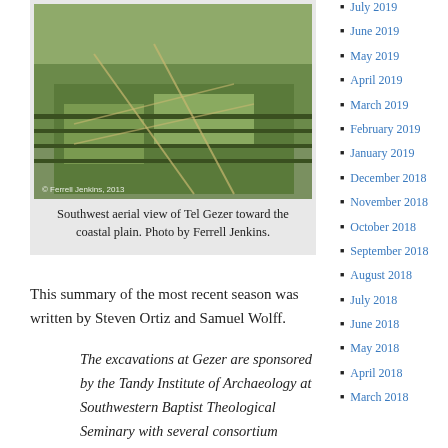[Figure (photo): Southwest aerial view of Tel Gezer showing excavation site with green terraced hills and agricultural fields. Photo credit: Ferrell Jenkins, 2013.]
Southwest aerial view of Tel Gezer toward the coastal plain. Photo by Ferrell Jenkins.
This summary of the most recent season was written by Steven Ortiz and Samuel Wolff.
The excavations at Gezer are sponsored by the Tandy Institute of Archaeology at Southwestern Baptist Theological Seminary with several consortium schools. The excavations are directed by Steven Ortiz of the Tandy and Samuel Wolff of the Israel Antiquities Authority.
July 2019
June 2019
May 2019
April 2019
March 2019
February 2019
January 2019
December 2018
November 2018
October 2018
September 2018
August 2018
July 2018
June 2018
May 2018
April 2018
March 2018